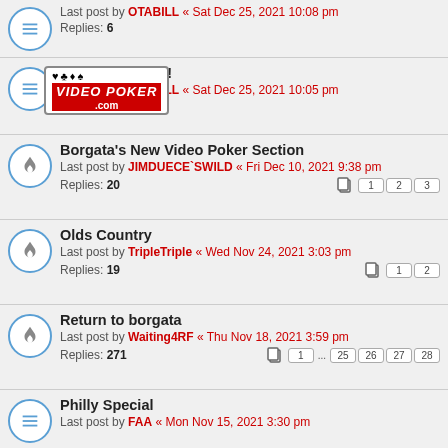Last post by OTABILL « Sat Dec 25, 2021 10:08 pm
Replies: 6
Happy holidays!
Last post by OTABILL « Sat Dec 25, 2021 10:05 pm
[Figure (logo): Video Poker .com logo with card suit icons]
Borgata's New Video Poker Section
Last post by JIMDUECE`SWILD « Fri Dec 10, 2021 9:38 pm
Replies: 20
Pages: 1 2 3
Olds Country
Last post by TripleTriple « Wed Nov 24, 2021 3:03 pm
Replies: 19
Pages: 1 2
Return to borgata
Last post by Waiting4RF « Thu Nov 18, 2021 3:59 pm
Replies: 271
Pages: 1 ... 25 26 27 28
Philly Special
Last post by FAA « Mon Nov 15, 2021 3:30 pm
[Figure (infographic): Advertisement banner with two MS articles: 'Key Signs That Multiple Sclerosis Treatments Are Working' and 'The 4 Types of Multiple Sclerosis, Defined by a Neurologist']
This site uses cookies for personalized content and analytics. By continuing to use this site, you agree to this use. Close